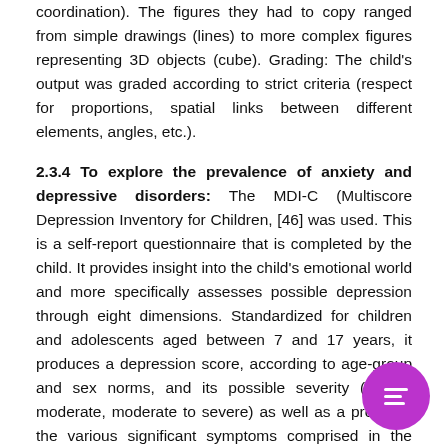coordination). The figures they had to copy ranged from simple drawings (lines) to more complex figures representing 3D objects (cube). Grading: The child's output was graded according to strict criteria (respect for proportions, spatial links between different elements, angles, etc.).
2.3.4 To explore the prevalence of anxiety and depressive disorders: The MDI-C (Multiscore Depression Inventory for Children, [46] was used. This is a self-report questionnaire that is completed by the child. It provides insight into the child's emotional world and more specifically assesses possible depression through eight dimensions. Standardized for children and adolescents aged between 7 and 17 years, it produces a depression score, according to age-group and sex norms, and its possible severity (low to moderate, moderate to severe) as well as a profile of the various significant symptoms comprised in the score (Self-esteem, Anxiety, Sad mood, Social introversion, Pessimism, Provocation, Low energy, Instrumental helplessness). The standardized scores of the MDI-C range from 25... points. A standardized score between 56 ... corresponds to a mild to moderate depressive s...